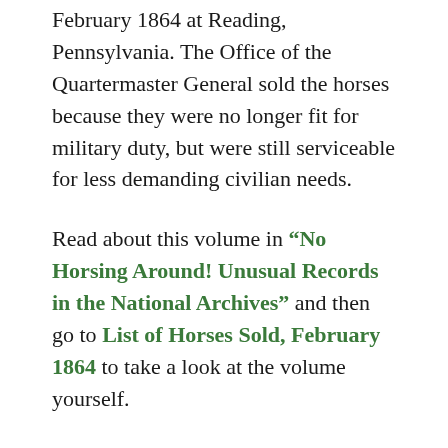February 1864 at Reading, Pennsylvania. The Office of the Quartermaster General sold the horses because they were no longer fit for military duty, but were still serviceable for less demanding civilian needs.
Read about this volume in “No Horsing Around! Unusual Records in the National Archives” and then go to List of Horses Sold, February 1864 to take a look at the volume yourself.
All the names have been “tagged” so that a researcher could stumble upon this volume when doing a simple name search in the National Archives Catalog — but, beware!